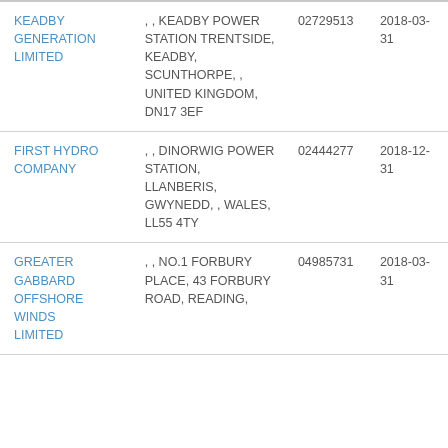| KEADBY GENERATION LIMITED | , , KEADBY POWER STATION TRENTSIDE, KEADBY, SCUNTHORPE, , UNITED KINGDOM, DN17 3EF | 02729513 | 2018-03-31 |
| FIRST HYDRO COMPANY | , , DINORWIG POWER STATION, LLANBERIS, GWYNEDD, , WALES, LL55 4TY | 02444277 | 2018-12-31 |
| GREATER GABBARD OFFSHORE WINDS LIMITED | , , NO.1 FORBURY PLACE, 43 FORBURY ROAD, READING | 04985731 | 2018-03-31 |